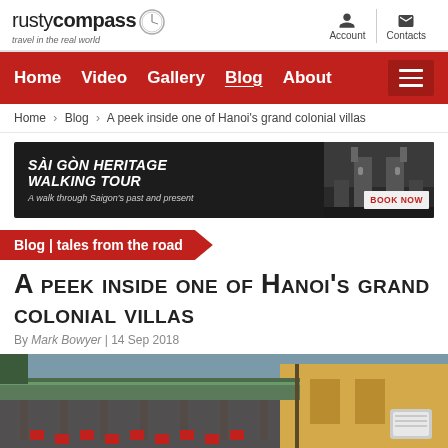[Figure (logo): Rusty Compass logo with compass clock icon and tagline 'travel in the real world']
Account   Contacts
Home  Video  Gallery  Blog  About
Home > Blog > A peek inside one of Hanoi's grand colonial villas
[Figure (infographic): Sai Gon Heritage Walking Tour advertisement banner - black and white photo of cathedral, red banner text, Book Now button]
Blog | tales from the road
A peek inside one of Hanoi's grand colonial villas
By Mark Bowyer | 14 Sep 2018
[Figure (photo): Photograph of a colonial villa in Hanoi with green tiled roof, yellow walls, red lanterns and flags, air conditioning unit visible]